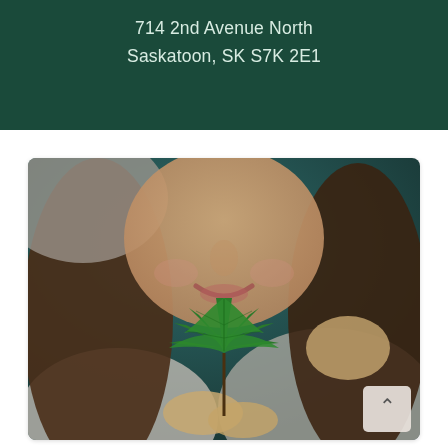714 2nd Avenue North
Saskatoon, SK S7K 2E1
[Figure (photo): A smiling young woman with long dark hair wearing a hoodie, holding up a green cannabis leaf in front of her face. Background is dark teal.]